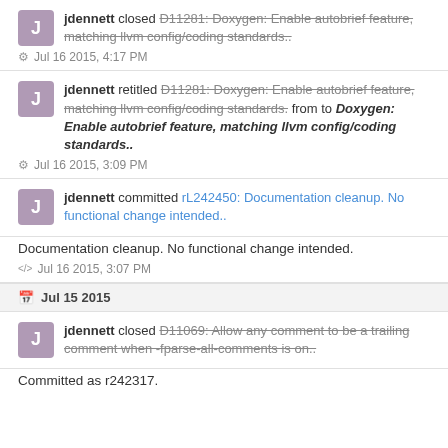jdennett closed D11281: Doxygen: Enable autobrief feature, matching llvm config/coding standards..
⚙ Jul 16 2015, 4:17 PM
jdennett retitled D11281: Doxygen: Enable autobrief feature, matching llvm config/coding standards. from to Doxygen: Enable autobrief feature, matching llvm config/coding standards..
⚙ Jul 16 2015, 3:09 PM
jdennett committed rL242450: Documentation cleanup. No functional change intended..
Documentation cleanup. No functional change intended.
</> Jul 16 2015, 3:07 PM
📅 Jul 15 2015
jdennett closed D11069: Allow any comment to be a trailing comment when -fparse-all-comments is on..
Committed as r242317.